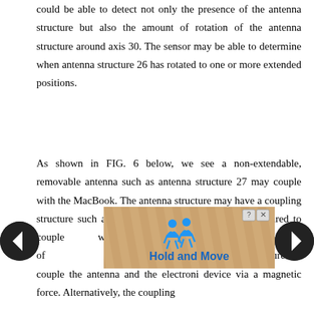could be able to detect not only the presence of the antenna structure but also the amount of rotation of the antenna structure around axis 30. The sensor may be able to determine when antenna structure 26 has rotated to one or more extended positions.
As shown in FIG. 6 below, we see a non-extendable, removable antenna such as antenna structure 27 may couple with the MacBook. The antenna structure may have a coupling structure such as coupling structure 58 that is configured to couple with coupling structure 60 of ... be configured to couple the antenna and the electronic device via a magnetic force. Alternatively, the coupling
[Figure (other): Advertisement overlay showing 'Hold and Move' text with blue human figure icons, striped brown/tan background, close button (? X) in top right, navigation arrows on left and right sides.]